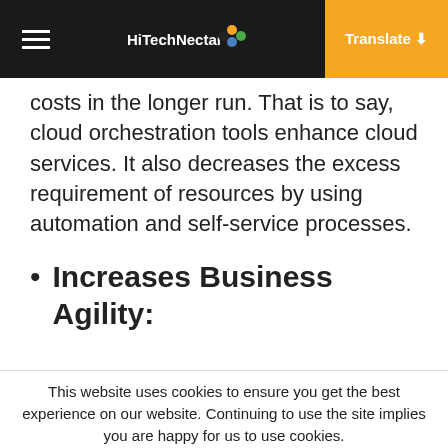HiTechNectar | Translate
costs in the longer run. That is to say, cloud orchestration tools enhance cloud services. It also decreases the excess requirement of resources by using automation and self-service processes.
Increases Business Agility:
This website uses cookies to ensure you get the best experience on our website. Continuing to use the site implies you are happy for us to use cookies.